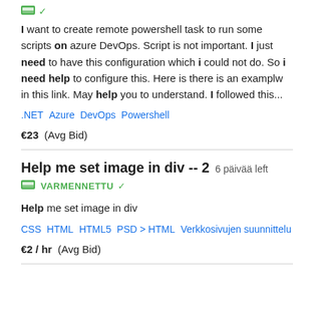[Figure (other): Green verified badge icon with checkmark]
I want to create remote powershell task to run some scripts on azure DevOps. Script is not important. I just need to have this configuration which i could not do. So i need help to configure this. Here is there is an examplw in this link. May help you to understand. I followed this...
.NET   Azure   DevOps   Powershell
€23  (Avg Bid)
Help me set image in div -- 2   6 päivää left
[Figure (other): Green verified badge with VARMENNETTU label and checkmark]
Help me set image in div
CSS   HTML   HTML5   PSD > HTML   Verkkosivujen suunnittelu
€2 / hr  (Avg Bid)